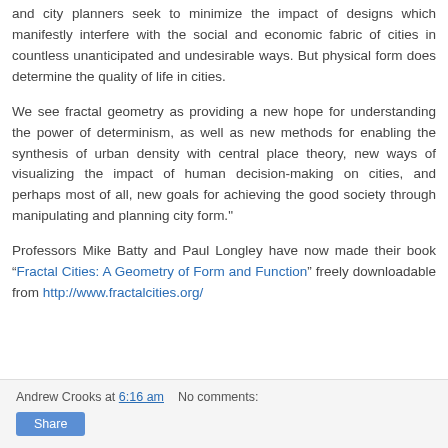and city planners seek to minimize the impact of designs which manifestly interfere with the social and economic fabric of cities in countless unanticipated and undesirable ways. But physical form does determine the quality of life in cities.
We see fractal geometry as providing a new hope for understanding the power of determinism, as well as new methods for enabling the synthesis of urban density with central place theory, new ways of visualizing the impact of human decision-making on cities, and perhaps most of all, new goals for achieving the good society through manipulating and planning city form."
Professors Mike Batty and Paul Longley have now made their book “Fractal Cities: A Geometry of Form and Function” freely downloadable from http://www.fractalcities.org/
Andrew Crooks at 6:16 am   No comments:   Share